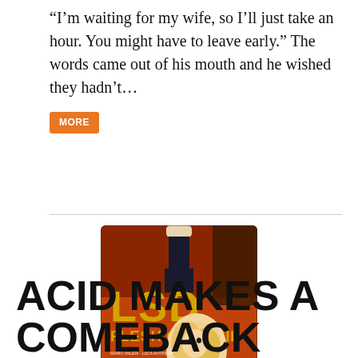“I’m waiting for my wife, so I’ll just take an hour. You might have to leave early.” The words came out of his mouth and he wished they hadn’t…
[Figure (illustration): Vintage movie poster for 'LSD Flesh of Devil' featuring bold yellow text 'LSD' and 'FLESH OF DEVIL' on an orange/red background with illustrated figures including a blonde woman and another figure. Credits at bottom include 'LUCIA MODUGNO'.]
ACID MAKES A COMEBACK